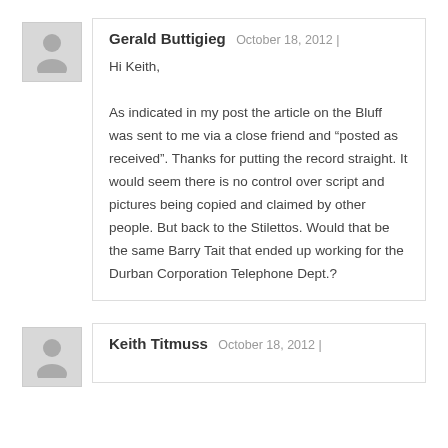Gerald Buttigieg October 18, 2012 | Hi Keith, As indicated in my post the article on the Bluff was sent to me via a close friend and “posted as received”. Thanks for putting the record straight. It would seem there is no control over script and pictures being copied and claimed by other people. But back to the Stilettos. Would that be the same Barry Tait that ended up working for the Durban Corporation Telephone Dept.?
Keith Titmuss October 18, 2012 |